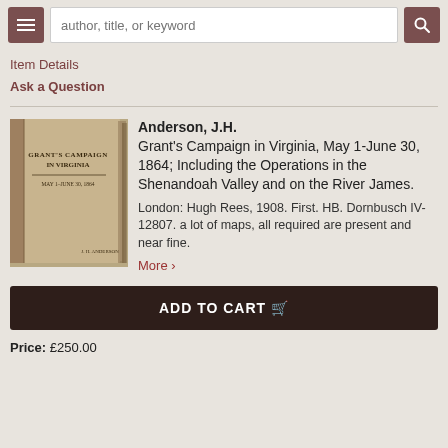author, title, or keyword [search bar]
Item Details
Ask a Question
[Figure (photo): Photo of book: Grant's Campaign in Virginia, stacked copies showing spine]
Anderson, J.H.
Grant's Campaign in Virginia, May 1-June 30, 1864; Including the Operations in the Shenandoah Valley and on the River James.
London: Hugh Rees, 1908. First. HB. Dornbusch IV-12807. a lot of maps, all required are present and near fine.
More >
ADD TO CART
Price: £250.00